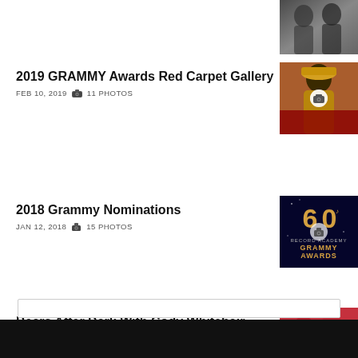[Figure (photo): Partial photo visible at top right corner, cropped]
2019 GRAMMY Awards Red Carpet Gallery
FEB 10, 2019  📷  11 PHOTOS
[Figure (photo): Person in yellow/gold outfit on red carpet]
2018 Grammy Nominations
JAN 12, 2018  📷  15 PHOTOS
[Figure (photo): 60th Grammy Awards promotional image on dark background]
Bears After Dark With Cody Whitehair
NOV 15, 2017  📷  29 PHOTOS
[Figure (photo): Two men posing at an event, one in grey jacket]